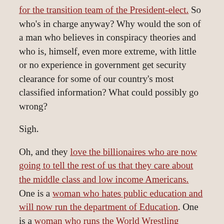for the transition team of the President-elect. So who's in charge anyway? Why would the son of a man who believes in conspiracy theories and who is, himself, even more extreme, with little or no experience in government get security clearance for some of our country's most classified information? What could possibly go wrong?
Sigh.
Oh, and they love the billionaires who are now going to tell the rest of us that they care about the middle class and low income Americans. One is a woman who hates public education and will now run the department of Education. One is a woman who runs the World Wrestling Entertainment business and will be in charge of small businesses.
Sigh. So much for “draining the swamp.”
They love those deals that save 750 jobs for a mere $7 million in tax breaks- er uh- or maybe a 35% tariff on imports brought in by companies who outsourced